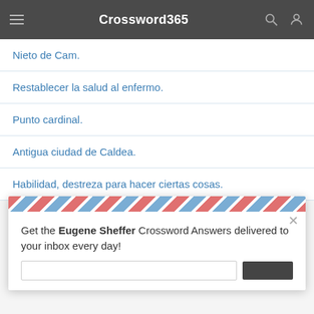Crossword365
Nieto de Cam.
Restablecer la salud al enfermo.
Punto cardinal.
Antigua ciudad de Caldea.
Habilidad, destreza para hacer ciertas cosas.
Get the Eugene Sheffer Crossword Answers delivered to your inbox every day!